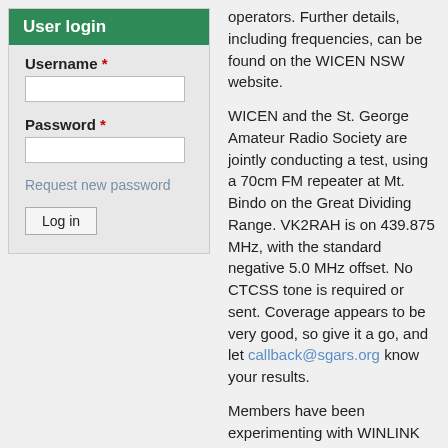User login
Username *
Password *
Request new password
Log in
operators. Further details, including frequencies, can be found on the WICEN NSW website.
WICEN and the St. George Amateur Radio Society are jointly conducting a test, using a 70cm FM repeater at Mt. Bindo on the Great Dividing Range. VK2RAH is on 439.875 MHz, with the standard negative 5.0 MHz offset. No CTCSS tone is required or sent. Coverage appears to be very good, so give it a go, and let callback@sgars.org know your results.
Members have been experimenting with WINLINK and JS8CALL to pass text messages, on Monday evenings, supported by a